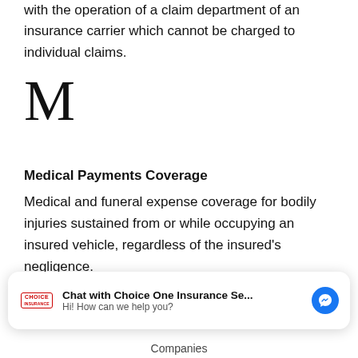with the operation of a claim department of an insurance carrier which cannot be charged to individual claims.
M
Medical Payments Coverage
Medical and funeral expense coverage for bodily injuries sustained from or while occupying an insured vehicle, regardless of the insured's negligence.
[Figure (screenshot): Chat widget overlay: Choice One Insurance logo on left, text 'Chat with Choice One Insurance Se...' and 'Hi! How can we help you?', blue Messenger icon on right.]
Companies